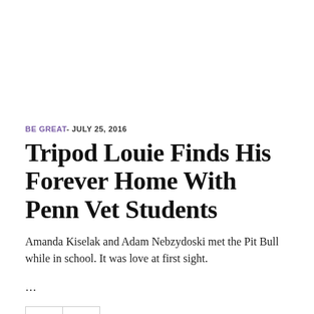BE GREAT- JULY 25, 2016
Tripod Louie Finds His Forever Home With Penn Vet Students
Amanda Kiselak and Adam Nebzydoski met the Pit Bull while in school. It was love at first sight.
…
0 SHARES